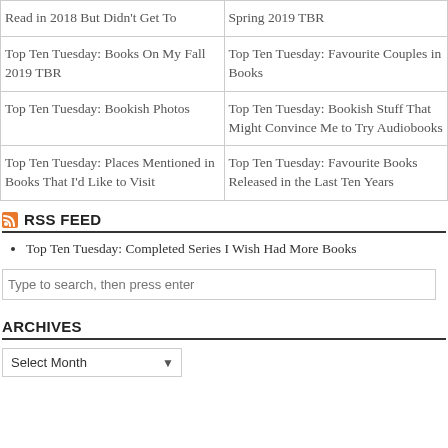| Read in 2018 But Didn't Get To | Spring 2019 TBR |
| Top Ten Tuesday: Books On My Fall 2019 TBR | Top Ten Tuesday: Favourite Couples in Books |
| Top Ten Tuesday: Bookish Photos | Top Ten Tuesday: Bookish Stuff That Might Convince Me to Try Audiobooks |
| Top Ten Tuesday: Places Mentioned in Books That I'd Like to Visit | Top Ten Tuesday: Favourite Books Released in the Last Ten Years |
RSS FEED
Top Ten Tuesday: Completed Series I Wish Had More Books
Type to search, then press enter
ARCHIVES
Select Month